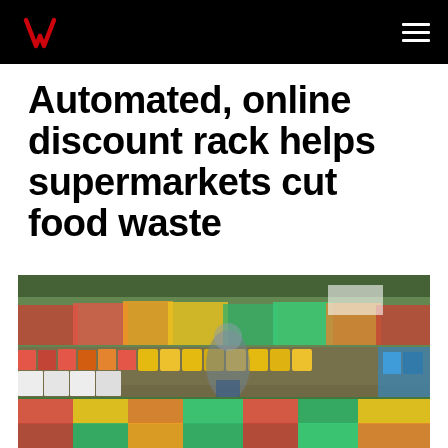Verizon – navigation header with logo and menu
Automated, online discount rack helps supermarkets cut food waste
[Figure (photo): Blurred photo of a supermarket produce and grocery aisle with colorful displays of fruits, vegetables, and packaged goods. A shopper is visible in the middle ground. The shelves are densely stocked with colorful products.]